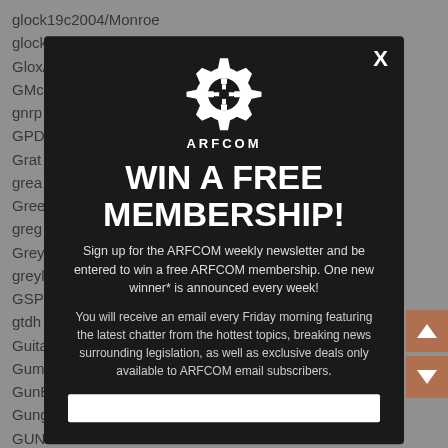glock19c2004/Monroe
glocker1911/Delaware
Glox/Lake and Hamilton
GMc...
gnrp...
GPD...
Grat...
grea...
Gree...
greg...
Grey...
greyl...
GSP...
gtdh...
Guita...
Gum...
GunB...
Gung...
GUN...
Gunl...
gunn...
gunn...
gunn...
guns...
[Figure (screenshot): ARFCOM modal popup with dark background showing WIN A FREE MEMBERSHIP promotion. Includes ARFCOM gear logo, heading text, body text about newsletter signup, and email input field. An X close button is in the top right.]